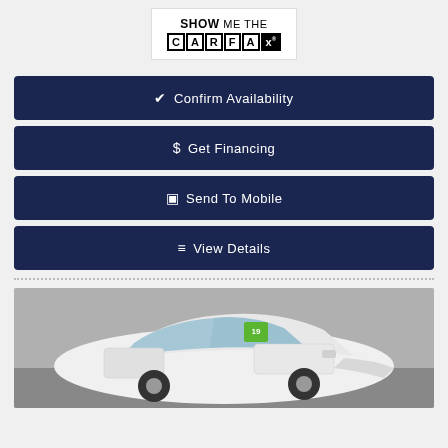[Figure (logo): Show Me The CARFAX logo — white background with SHOW ME THE text above and CARFAX in bordered boxes]
✔ Confirm Availability
$ Get Financing
▣ Send To Mobile
≡ View Details
[Figure (photo): White SUV (Toyota RAV4 or similar) parked indoors with a green year sticker on windshield, front three-quarter view]